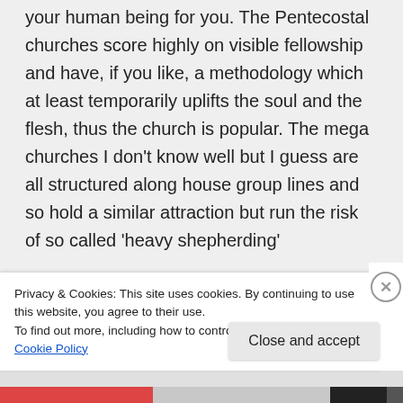your human being for you. The Pentecostal churches score highly on visible fellowship and have, if you like, a methodology which at least temporarily uplifts the soul and the flesh, thus the church is popular. The mega churches I don't know well but I guess are all structured along house group lines and so hold a similar attraction but run the risk of so called 'heavy shepherding'
Privacy & Cookies: This site uses cookies. By continuing to use this website, you agree to their use.
To find out more, including how to control cookies, see here: Cookie Policy